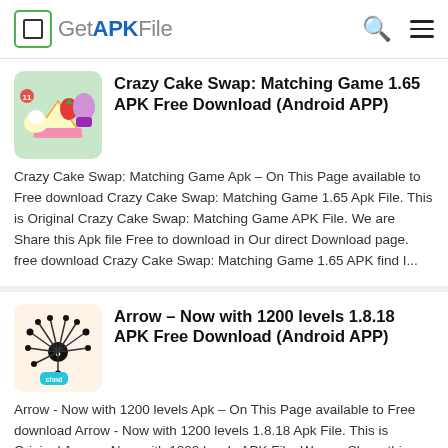GetAPKFile
Crazy Cake Swap: Matching Game 1.65 APK Free Download (Android APP)
Crazy Cake Swap: Matching Game Apk – On This Page available to Free download Crazy Cake Swap: Matching Game 1.65 Apk File. This is Original Crazy Cake Swap: Matching Game APK File. We are Share this Apk file Free to download in Our direct Download page. free download Crazy Cake Swap: Matching Game 1.65 APK find I...
Arrow – Now with 1200 levels 1.8.18 APK Free Download (Android APP)
Arrow - Now with 1200 levels Apk – On This Page available to Free download Arrow - Now with 1200 levels 1.8.18 Apk File. This is Original Arrow - Now with 1200 levels APK File. We are Share this Apk file Free to download in Our direct Download page. free download Arrow - Now with 1200 levels 1.8.18 APK find I...